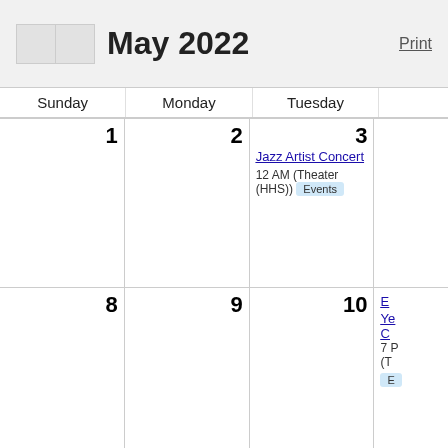May 2022
| Sunday | Monday | Tuesday | ... |
| --- | --- | --- | --- |
| 1 | 2 | 3 - Jazz Artist Concert 12 AM (Theater (HHS)) Events | ... |
| 8 | 9 | 10 | En... Ye... C... 7 P... (T... E... |
| 15 | 16 | 17 | Un... Av... 6 M... |